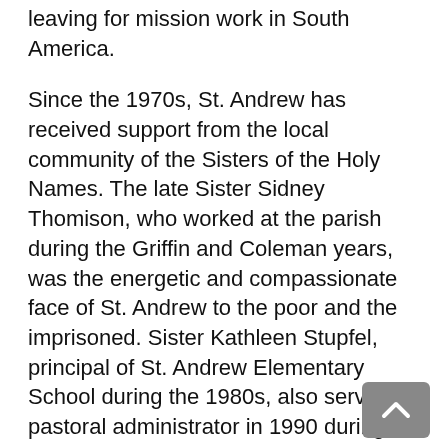leaving for mission work in South America.
Since the 1970s, St. Andrew has received support from the local community of the Sisters of the Holy Names. The late Sister Sidney Thomison, who worked at the parish during the Griffin and Coleman years, was the energetic and compassionate face of St. Andrew to the poor and the imprisoned. Sister Kathleen Stupfel, principal of St. Andrew Elementary School during the 1980s, also served as pastoral administrator in 1990 during a period between permanent pastors.
In 1985, with the encouragement of Father Coleman, the parish held several public discussions and voted to join several other Portland churches in offering sanctuary and support to refugees from the civil wars in Guatemala and El Salvador, who were all classified as illegal aliens by the US Immigration & Naturalization Service at the time.